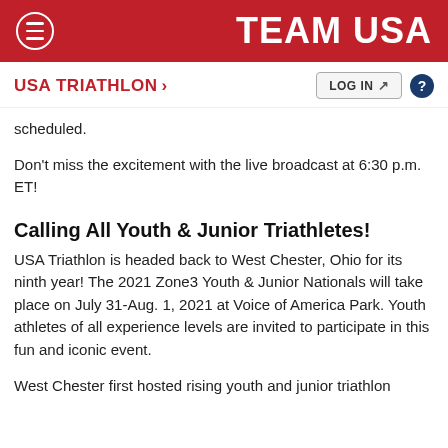TEAM USA
USA TRIATHLON >
scheduled.
Don't miss the excitement with the live broadcast at 6:30 p.m. ET!
Calling All Youth & Junior Triathletes!
USA Triathlon is headed back to West Chester, Ohio for its ninth year! The 2021 Zone3 Youth & Junior Nationals will take place on July 31-Aug. 1, 2021 at Voice of America Park. Youth athletes of all experience levels are invited to participate in this fun and iconic event.
West Chester first hosted rising youth and junior triathlon